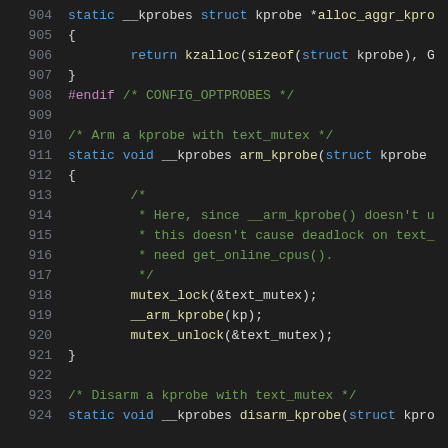[Figure (screenshot): Source code screenshot showing C kernel code lines 904-924, with syntax highlighting on a dark background. Lines include kprobe allocation, arm_kprobe and disarm_kprobe functions with mutex locking.]